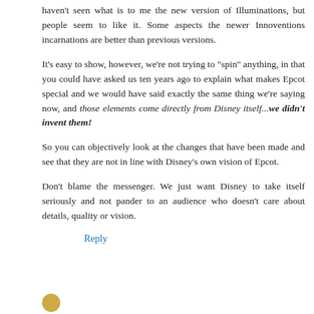haven't seen what is to me the new version of Illuminations, but people seem to like it. Some aspects the newer Innoventions incarnations are better than previous versions.
It's easy to show, however, we're not trying to "spin" anything, in that you could have asked us ten years ago to explain what makes Epcot special and we would have said exactly the same thing we're saying now, and those elements come directly from Disney itself...we didn't invent them!
So you can objectively look at the changes that have been made and see that they are not in line with Disney's own vision of Epcot.
Don't blame the messenger. We just want Disney to take itself seriously and not pander to an audience who doesn't care about details, quality or vision.
Reply